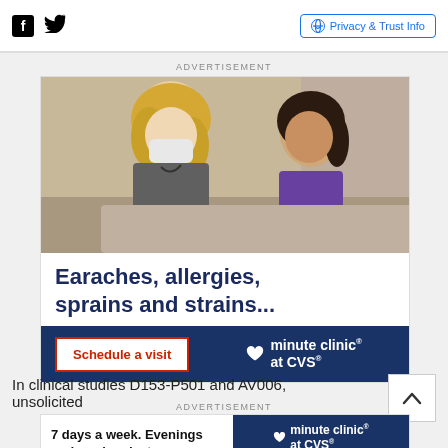Facebook  Twitter  |  Privacy & Trust Info
ADVERTISEMENT
[Figure (photo): A masked female healthcare provider (blonde hair, wearing mask and stethoscope) speaking with a young girl in a purple shirt in a clinical setting. Advertisement for MinuteClinic at CVS.]
Earaches, allergies, sprains and strains...
Schedule a visit   ♥ minute clinic® at CVS®
In clinical studies D153-P501 and AV006, unsolicited
ADVERTISEMENT
7 days a week. Evenings and weekends, too.   ♥ minute clinic® at CVS®  Schedule a visit ›